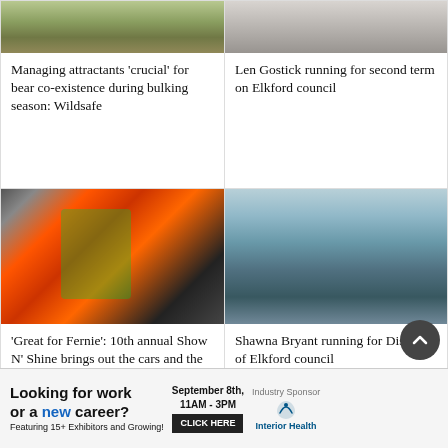[Figure (photo): Photo of bear or nature scene with grass/vegetation]
Managing attractants 'crucial' for bear co-existence during bulking season: Wildsafe
[Figure (photo): Person in plaid shirt, likely Len Gostick]
Len Gostick running for second term on Elkford council
[Figure (photo): Boy in green hoodie leaning against orange sports car]
'Great for Fernie': 10th annual Show N' Shine brings out the cars and the
[Figure (photo): Smiling blonde woman in navy blazer standing outdoors with mountains in background — Shawna Bryant]
Shawna Bryant running for District of Elkford council
Looking for work or a new career? Featuring 15+ Exhibitors and Growing! September 8th, 11AM - 3PM CLICK HERE Industry Sponsor Interior Health